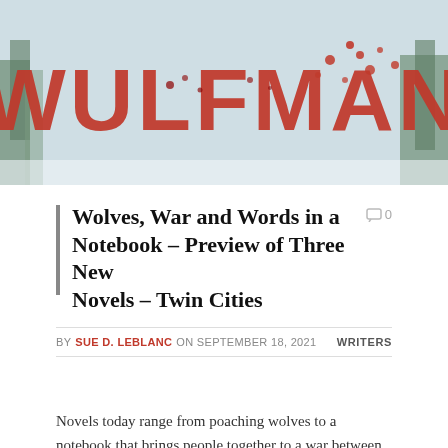[Figure (photo): Book cover image showing large red 'WULFMAN' text on a wintry forest background with snow and red berries]
Wolves, War and Words in a Notebook – Preview of Three New Novels – Twin Cities
BY SUE D. LEBLANC ON SEPTEMBER 18, 2021   WRITERS
Novels today range from poaching wolves to a notebook that brings people together to a war between Mother Nature and the Gods.
'Moonwolf' by Stephen Trollin (White Cap Pres…